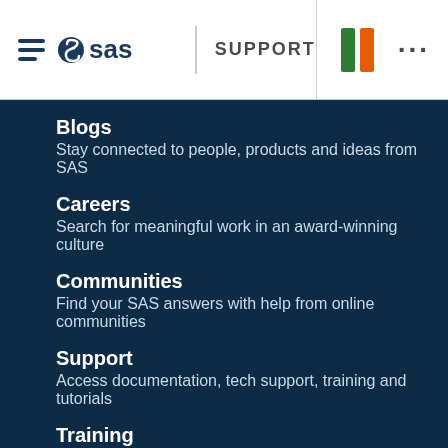SAS SUPPORT
Blogs
Stay connected to people, products and ideas from SAS
Careers
Search for meaningful work in an award-winning culture
Communities
Find your SAS answers with help from online communities
Support
Access documentation, tech support, training and tutorials
Training
Learn top-rated analytics skills required in today’s market